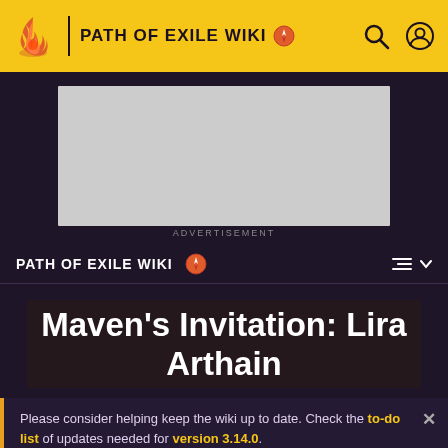PATH OF EXILE WIKI
[Figure (screenshot): Advertisement placeholder - gray rectangle]
ADVERTISEMENT
PATH OF EXILE WIKI
Maven's Invitation: Lira Arthain
Please consider helping keep the wiki up to date. Check the to-do list of updates needed for version 3.14.0. Game data exports will becoming later as the technical changes in addition to regular changes take some more time.